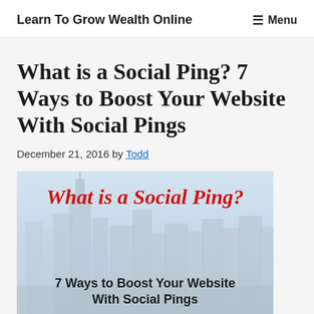Learn To Grow Wealth Online   ☰ Menu
What is a Social Ping? 7 Ways to Boost Your Website With Social Pings
December 21, 2016 by Todd
[Figure (illustration): Featured image with city skyline background. Red italic bold text reads 'What is a Social Ping?' and black bold text below reads '7 Ways to Boost Your Website With Social Pings'.]